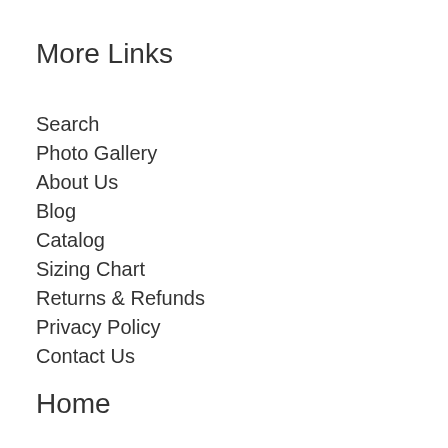More Links
Search
Photo Gallery
About Us
Blog
Catalog
Sizing Chart
Returns & Refunds
Privacy Policy
Contact Us
Home
Welcome to SupercarShirts.com! Feel free to browse our various car-related products for men, women and children. New products are being added on a weekly basis so feel free